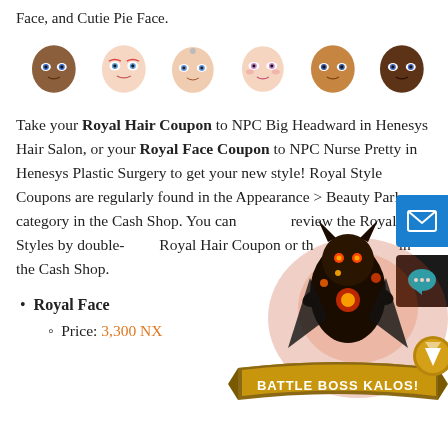Face, and Cutie Pie Face.
[Figure (illustration): Row of six character face icons showing different styles and skin tones from the MapleStory game]
Take your Royal Hair Coupon to NPC Big Headward in Henesys Hair Salon, or your Royal Face Coupon to NPC Nurse Pretty in Henesys Plastic Surgery to get your new style! Royal Style Coupons are regularly found in the Appearance > Beauty Parlor category in the Cash Shop. You can preview the Royal Styles by double-clicking the Royal Hair Coupon or the Royal Face Coupon in the Cash Shop.
[Figure (illustration): Battle Boss Kalos promotional image with character and banner reading BATTLE BOSS KALOS!]
Royal Face
Price: 3,300 NX